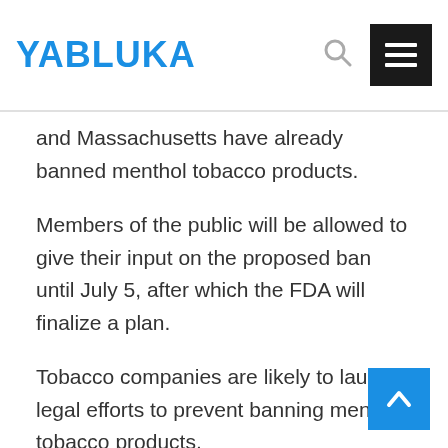YABLUKA
and Massachusetts have already banned menthol tobacco products.
Members of the public will be allowed to give their input on the proposed ban until July 5, after which the FDA will finalize a plan.
Tobacco companies are likely to launch legal efforts to prevent banning menthol tobacco products.
Cigarette stocks were mixed on